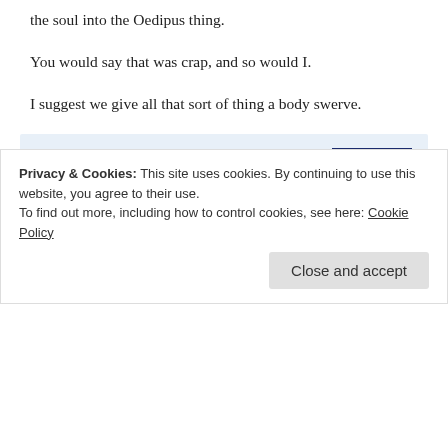the soul into the Oedipus thing.
You would say that was crap, and so would I.
I suggest we give all that sort of thing a body swerve.
Brendano
October 15, 2010 at 5:35 pm
OK. Will try to remember.
Privacy & Cookies: This site uses cookies. By continuing to use this website, you agree to their use.
To find out more, including how to control cookies, see here: Cookie Policy
Close and accept